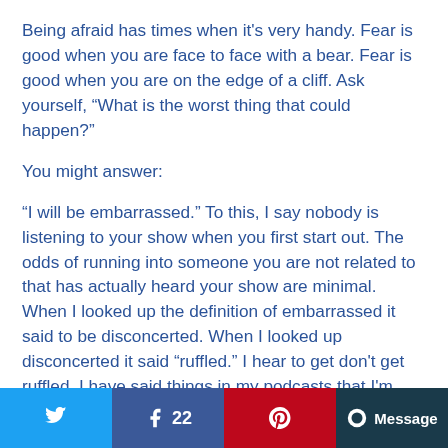Being afraid has times when it's very handy. Fear is good when you are face to face with a bear. Fear is good when you are on the edge of a cliff. Ask yourself, “What is the worst thing that could happen?”
You might answer:
“I will be embarrassed.” To this, I say nobody is listening to your show when you first start out. The odds of running into someone you are not related to that has actually heard your show are minimal. When I looked up the definition of embarrassed it said to be disconcerted. When I looked up disconcerted it said “ruffled.” I hear to get don’t get ruffled. I have said things in my podcasts that I’m really surprised did not have negative side
[Figure (infographic): Social share bar with Twitter, Facebook (22 shares), Pinterest, and Message buttons]